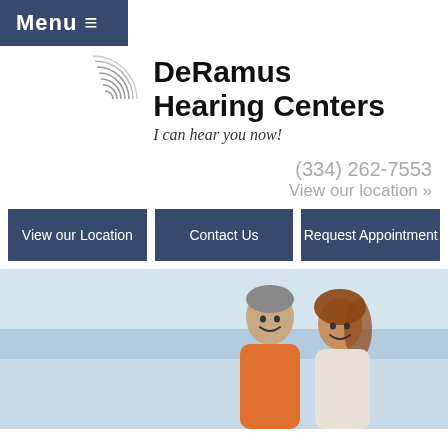Menu ≡
[Figure (logo): DeRamus Hearing Centers logo with concentric sound wave arcs and tagline 'I can hear you now!']
(334) 262-7553
View our location »
View our Location
Contact Us
Request Appointment
[Figure (photo): Middle-aged couple smiling outdoors near a beach, man in orange shirt and woman in white top]